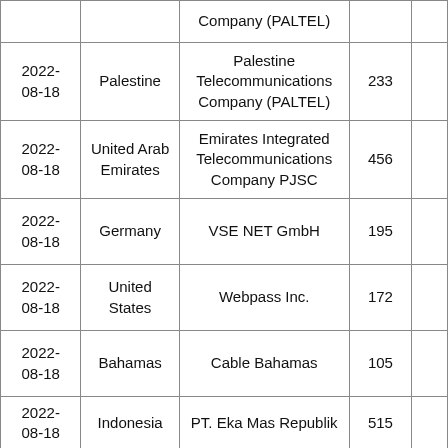|  |  | Company (PALTEL) |  |  |
| 2022-08-18 | Palestine | Palestine Telecommunications Company (PALTEL) | 233 |  |
| 2022-08-18 | United Arab Emirates | Emirates Integrated Telecommunications Company PJSC | 456 |  |
| 2022-08-18 | Germany | VSE NET GmbH | 195 |  |
| 2022-08-18 | United States | Webpass Inc. | 172 |  |
| 2022-08-18 | Bahamas | Cable Bahamas | 105 |  |
| 2022-08-18 | Indonesia | PT. Eka Mas Republik | 515 |  |